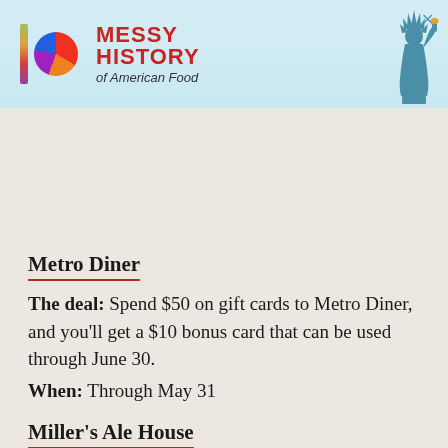[Figure (advertisement): Advertisement banner for 'Messy History of American Food' with colorful bar logo, circular gradient logo, red bold text, and Statue of Liberty silhouette on light blue background.]
Metro Diner
The deal: Spend $50 on gift cards to Metro Diner, and you'll get a $10 bonus card that can be used through June 30.
When: Through May 31
Miller's Ale House
The deal: Any mother that stops by Miller's on Mother's Day (and eats something) will get a coupon